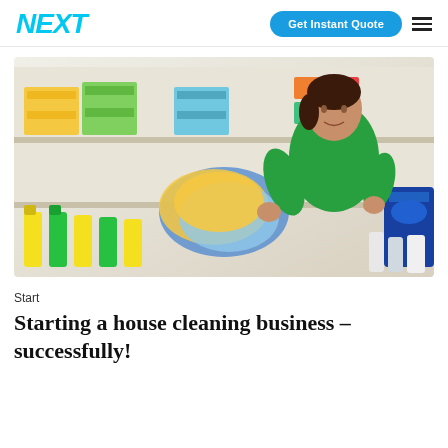NEXT | Get Instant Quote
[Figure (photo): A woman in a green uniform holding colorful cleaning cloths, standing in front of shelves stocked with folded towels and cleaning supplies.]
Start
Starting a house cleaning business – successfully!